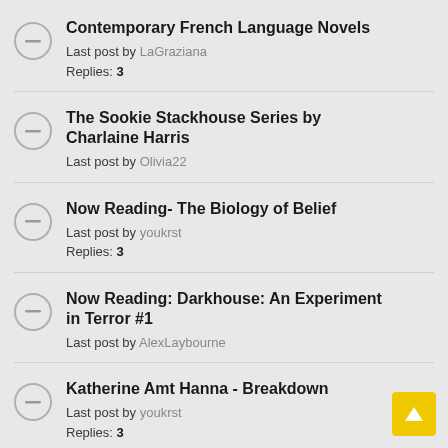Contemporary French Language Novels
Last post by LaGraziana
Replies: 3
The Sookie Stackhouse Series by Charlaine Harris
Last post by Olivia22
Now Reading- The Biology of Belief
Last post by youkrst
Replies: 3
Now Reading: Darkhouse: An Experiment in Terror #1
Last post by AlexLaybourne
Katherine Amt Hanna - Breakdown
Last post by youkrst
Replies: 3